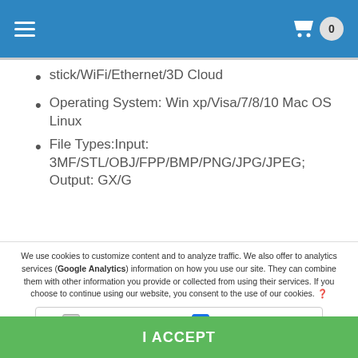Navigation bar with hamburger menu and shopping cart (0 items)
stick/WiFi/Ethernet/3D Cloud
Operating System: Win xp/Visa/7/8/10 Mac OS Linux
File Types:Input: 3MF/STL/OBJ/FPP/BMP/PNG/JPG/JPEG; Output: GX/G
We use cookies to customize content and to analyze traffic. We also offer to analytics services (Google Analytics) information on how you use our site. They can combine them with other information you provide or collected from using their services. If you choose to continue using our website, you consent to the use of our cookies.
Required | Preferences | Statistics | Marketing
I ACCEPT